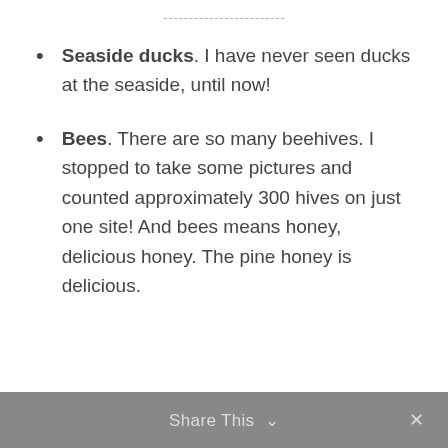Seaside ducks. I have never seen ducks at the seaside, until now!
Bees. There are so many beehives. I stopped to take some pictures and counted approximately 300 hives on just one site! And bees means honey, delicious honey. The pine honey is delicious.
Share This ∨  ×